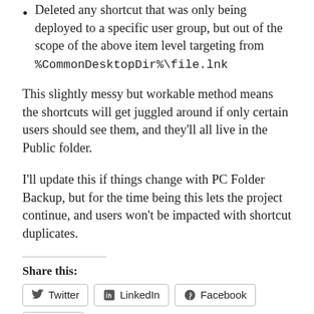Deleted any shortcut that was only being deployed to a specific user group, but out of the scope of the above item level targeting from %CommonDesktopDir%\file.lnk
This slightly messy but workable method means the shortcuts will get juggled around if only certain users should see them, and they'll all live in the Public folder.
I'll update this if things change with PC Folder Backup, but for the time being this lets the project continue, and users won't be impacted with shortcut duplicates.
Share this: